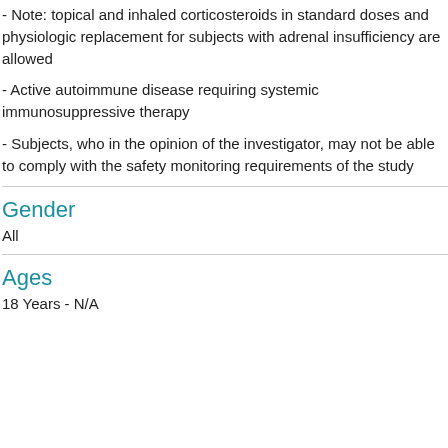- Note: topical and inhaled corticosteroids in standard doses and physiologic replacement for subjects with adrenal insufficiency are allowed
- Active autoimmune disease requiring systemic immunosuppressive therapy
- Subjects, who in the opinion of the investigator, may not be able to comply with the safety monitoring requirements of the study
Gender
All
Ages
18 Years - N/A